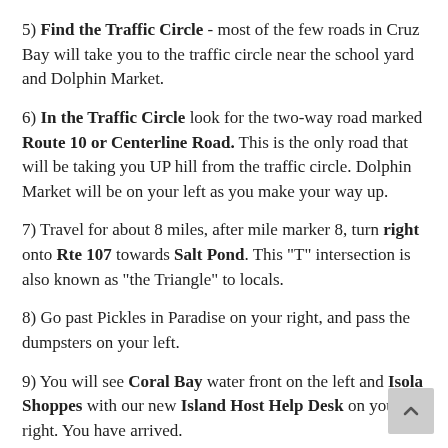5) Find the Traffic Circle - most of the few roads in Cruz Bay will take you to the traffic circle near the school yard and Dolphin Market.
6) In the Traffic Circle look for the two-way road marked Route 10 or Centerline Road. This is the only road that will be taking you UP hill from the traffic circle. Dolphin Market will be on your left as you make your way up.
7) Travel for about 8 miles, after mile marker 8, turn right onto Rte 107 towards Salt Pond. This "T" intersection is also known as "the Triangle" to locals.
8) Go past Pickles in Paradise on your right, and pass the dumpsters on your left.
9) You will see Coral Bay water front on the left and Isola Shoppes with our new Island Host Help Desk on your right. You have arrived.